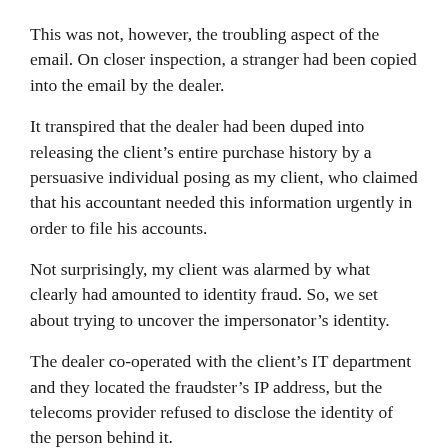This was not, however, the troubling aspect of the email. On closer inspection, a stranger had been copied into the email by the dealer.
It transpired that the dealer had been duped into releasing the client's entire purchase history by a persuasive individual posing as my client, who claimed that his accountant needed this information urgently in order to file his accounts.
Not surprisingly, my client was alarmed by what clearly had amounted to identity fraud. So, we set about trying to uncover the impersonator's identity.
The dealer co-operated with the client's IT department and they located the fraudster's IP address, but the telecoms provider refused to disclose the identity of the person behind it.
“It transpired that the dealer